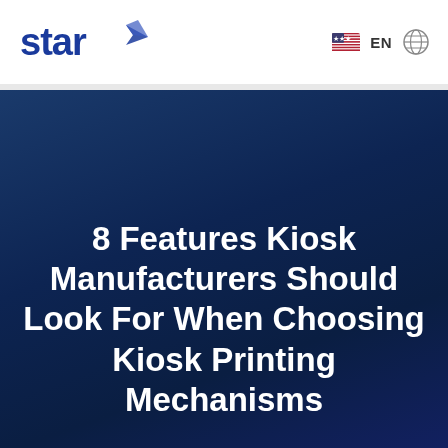Star Micronics — EN (language selector)
8 Features Kiosk Manufacturers Should Look For When Choosing Kiosk Printing Mechanisms